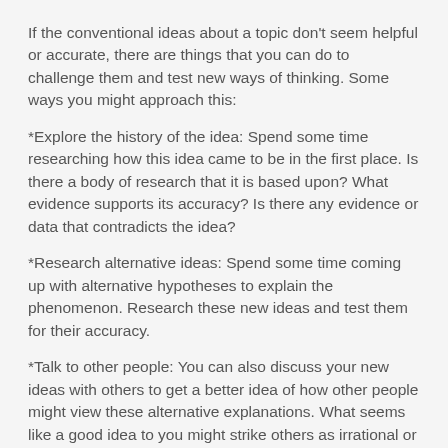If the conventional ideas about a topic don't seem helpful or accurate, there are things that you can do to challenge them and test new ways of thinking. Some ways you might approach this:
*Explore the history of the idea: Spend some time researching how this idea came to be in the first place. Is there a body of research that it is based upon? What evidence supports its accuracy? Is there any evidence or data that contradicts the idea?
*Research alternative ideas: Spend some time coming up with alternative hypotheses to explain the phenomenon. Research these new ideas and test them for their accuracy.
*Talk to other people: You can also discuss your new ideas with others to get a better idea of how other people might view these alternative explanations. What seems like a good idea to you might strike others as irrational or illogical. Other people may also be able to point out other ideas or